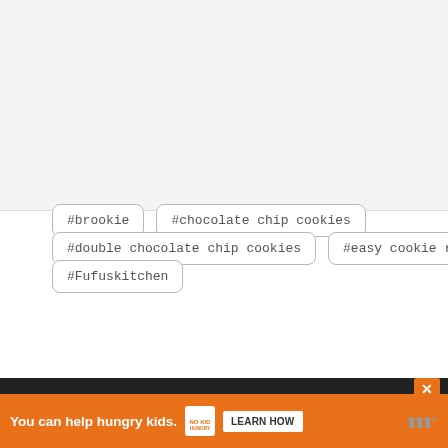[Figure (photo): Top image area (recipe photo, partially visible)]
#brookie
#chocolate chip cookies
#double chocolate chip cookies
#easy cookie recipe
#Fufuskitchen
← PREVIOUS
Brazilian Cheese Bread
NEXT
Beef Stir
[Figure (other): Ad banner: You can help hungry kids. No Kid Hungry. LEARN HOW.]